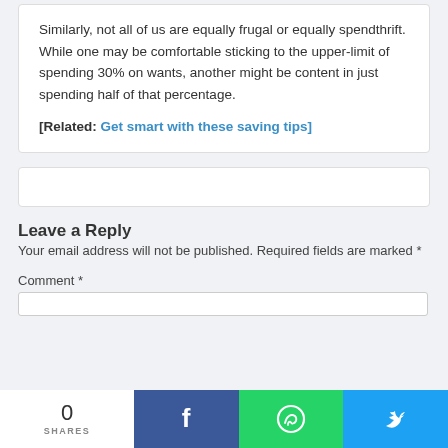Similarly, not all of us are equally frugal or equally spendthrift. While one may be comfortable sticking to the upper-limit of spending 30% on wants, another might be content in just spending half of that percentage.
[Related: Get smart with these saving tips]
[Figure (other): Advertisement or content placeholder box]
Leave a Reply
Your email address will not be published. Required fields are marked *
Comment *
[Figure (other): Social share bar with 0 shares count, Facebook share button, WhatsApp share button, Twitter share button]